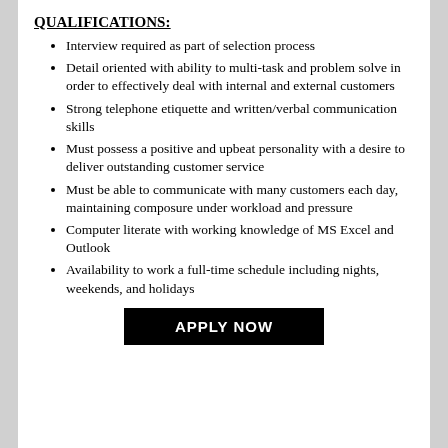QUALIFICATIONS:
Interview required as part of selection process
Detail oriented with ability to multi-task and problem solve in order to effectively deal with internal and external customers
Strong telephone etiquette and written/verbal communication skills
Must possess a positive and upbeat personality with a desire to deliver outstanding customer service
Must be able to communicate with many customers each day, maintaining composure under workload and pressure
Computer literate with working knowledge of MS Excel and Outlook
Availability to work a full-time schedule including nights, weekends, and holidays
APPLY NOW